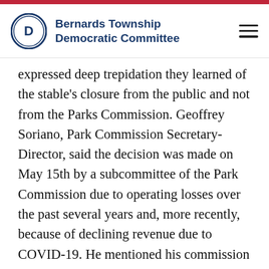Bernards Township Democratic Committee
expressed deep trepidation they learned of the stable's closure from the public and not from the Parks Commission. Geoffrey Soriano, Park Commission Secretary-Director, said the decision was made on May 15th by a subcommittee of the Park Commission due to operating losses over the past several years and, more recently, because of declining revenue due to COVID-19. He mentioned his commission has all records related to the decision and will respond to a public